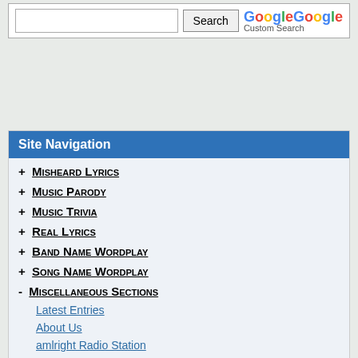[Figure (screenshot): Google Custom Search bar with text input, Search button, and Google Custom Search logo]
Site Navigation
+ Misheard Lyrics
+ Music Parody
+ Music Trivia
+ Real Lyrics
+ Band Name Wordplay
+ Song Name Wordplay
- Miscellaneous Sections
Latest Entries
About Us
amlright Radio Station
amlright Events
amlright Store
Articles